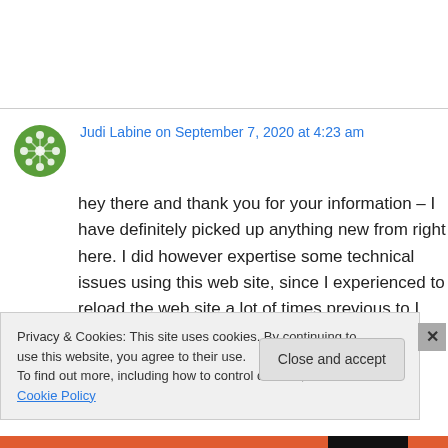[Figure (illustration): Green decorative avatar/icon with geometric floral pattern]
Judi Labine on September 7, 2020 at 4:23 am
hey there and thank you for your information – I have definitely picked up anything new from right here. I did however expertise some technical issues using this web site, since I experienced to reload the web site a lot of times previous to I
Privacy & Cookies: This site uses cookies. By continuing to use this website, you agree to their use.
To find out more, including how to control cookies, see here: Cookie Policy
Close and accept